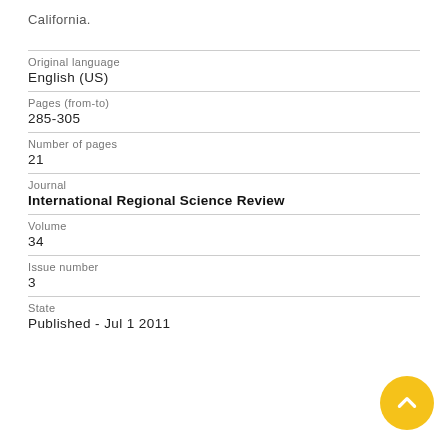California.
| Original language | English (US) |
| Pages (from-to) | 285-305 |
| Number of pages | 21 |
| Journal | International Regional Science Review |
| Volume | 34 |
| Issue number | 3 |
| State | Published - Jul 1 2011 |